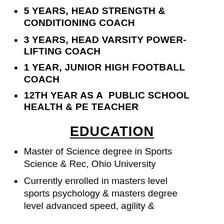5 YEARS, HEAD STRENGTH & CONDITIONING COACH
3 YEARS, HEAD VARSITY POWER-LIFTING COACH
1 YEAR, JUNIOR HIGH FOOTBALL COACH
12TH YEAR AS A  PUBLIC SCHOOL HEALTH & PE TEACHER
EDUCATION
Master of Science degree in Sports Science & Rec, Ohio University
Currently enrolled in masters level sports psychology & masters degree level advanced speed, agility &